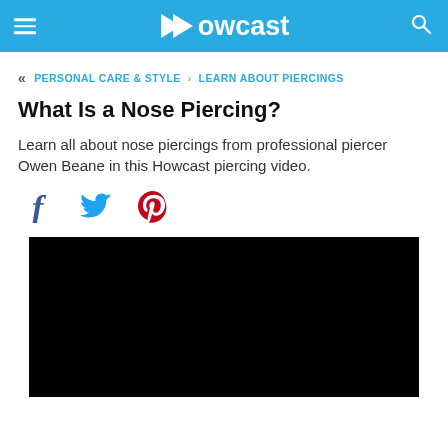Howcast
PERSONAL CARE & STYLE › LEARN ABOUT PIERCINGS
What Is a Nose Piercing?
Learn all about nose piercings from professional piercer Owen Beane in this Howcast piercing video.
[Figure (other): Social sharing icons: Facebook, Twitter, Pinterest]
[Figure (screenshot): Black video player embed area]